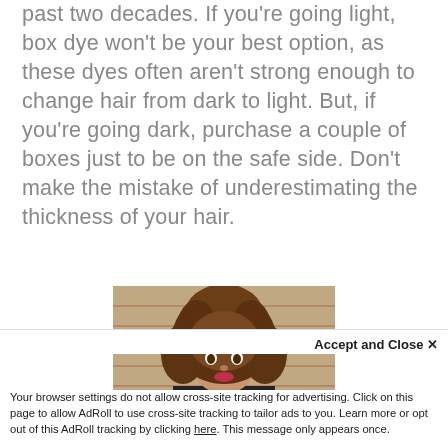past two decades. If you're going light, box dye won't be your best option, as these dyes often aren't strong enough to change hair from dark to light. But, if you're going dark, purchase a couple of boxes just to be on the safe side. Don't make the mistake of underestimating the thickness of your hair.
[Figure (photo): A young woman with voluminous curly brown hair, standing in front of a brick wall, wearing dark clothing.]
Accept and Close ×
Your browser settings do not allow cross-site tracking for advertising. Click on this page to allow AdRoll to use cross-site tracking to tailor ads to you. Learn more or opt out of this AdRoll tracking by clicking here. This message only appears once.